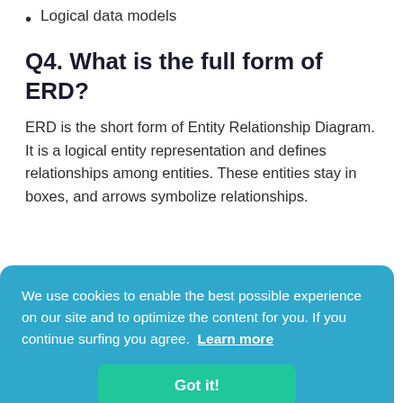Logical data models
Q4. What is the full form of ERD?
ERD is the short form of Entity Relationship Diagram. It is a logical entity representation and defines relationships among entities. These entities stay in boxes, and arrows symbolize relationships.
We use cookies to enable the best possible experience on our site and to optimize the content for you. If you continue surfing you agree.  Learn more
Got it!